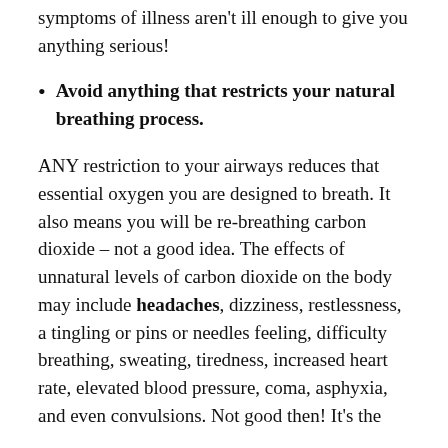symptoms of illness aren't ill enough to give you anything serious!
Avoid anything that restricts your natural breathing process.
ANY restriction to your airways reduces that essential oxygen you are designed to breath. It also means you will be re-breathing carbon dioxide – not a good idea. The effects of unnatural levels of carbon dioxide on the body may include headaches, dizziness, restlessness, a tingling or pins or needles feeling, difficulty breathing, sweating, tiredness, increased heart rate, elevated blood pressure, coma, asphyxia, and even convulsions. Not good then! It's the